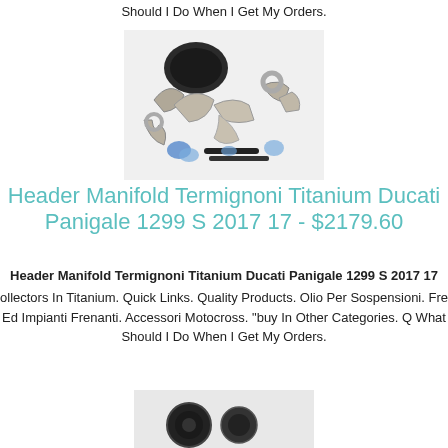Should I Do When I Get My Orders.
[Figure (photo): Titanium header manifold parts laid out on white background, showing various curved titanium pipes and fittings along with clamps and hardware components.]
Header Manifold Termignoni Titanium Ducati Panigale 1299 S 2017 17 - $2179.60
Header Manifold Termignoni Titanium Ducati Panigale 1299 S 2017 17
ollectors In Titanium. Quick Links. Quality Products. Olio Per Sospensioni. Fre Ed Impianti Frenanti. Accessori Motocross. "buy In Other Categories. Q What Should I Do When I Get My Orders.
[Figure (photo): Partial view of another motorcycle exhaust product, showing dark colored circular components.]